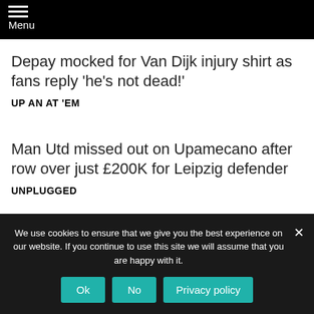Menu
Depay mocked for Van Dijk injury shirt as fans reply 'he's not dead!'
UP AN AT 'EM
Man Utd missed out on Upamecano after row over just £200K for Leipzig defender
UNPLUGGED
We use cookies to ensure that we give you the best experience on our website. If you continue to use this site we will assume that you are happy with it.